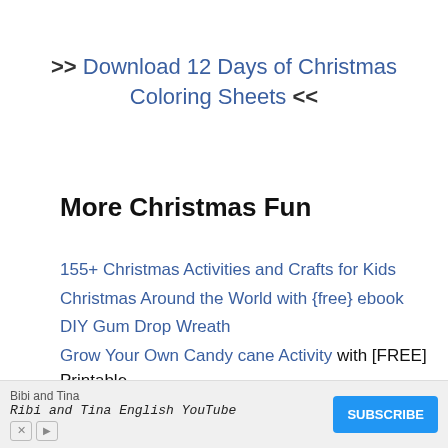>> Download 12 Days of Christmas Coloring Sheets <<
More Christmas Fun
155+ Christmas Activities and Crafts for Kids
Christmas Around the World with {free} ebook
DIY Gum Drop Wreath
Grow Your Own Candy cane Activity with [FREE] Printable
7 BEST Christmas Books
Snow...
{free...
[Figure (other): Advertisement bar for Bibi and Tina English YouTube channel with Subscribe button]